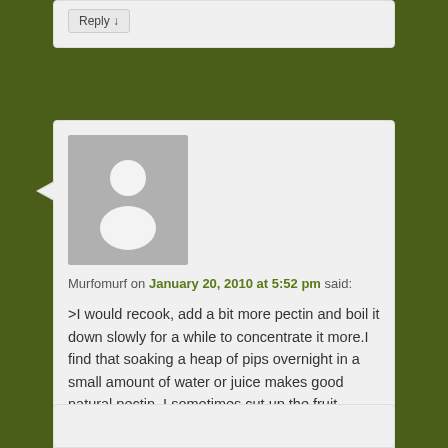Reply ↓
[Figure (illustration): User avatar placeholder: gray rectangle with white silhouette of a person]
Murfomurf on January 20, 2010 at 5:52 pm said:
>I would recook, add a bit more pectin and boil it down slowly for a while to concentrate it more.I find that soaking a heap of pips overnight in a small amount of water or juice makes good natural pectin. I sometimes cut up the fruit, extract some pips, cover the fruit with the sugar overnight in the fridge while soaking the pips is a good method.
Reply ↓